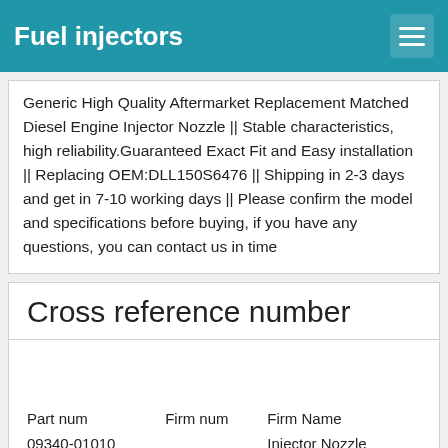Fuel injectors
Generic High Quality Aftermarket Replacement Matched Diesel Engine Injector Nozzle || Stable characteristics, high reliability.Guaranteed Exact Fit and Easy installation || Replacing OEM:DLL150S6476 || Shipping in 2-3 days and get in 7-10 working days || Please confirm the model and specifications before buying, if you have any questions, you can contact us in time
Cross reference number
| Part num | Firm num | Firm Name |
| --- | --- | --- |
| 09340-01010 |  | Injector Nozzle |